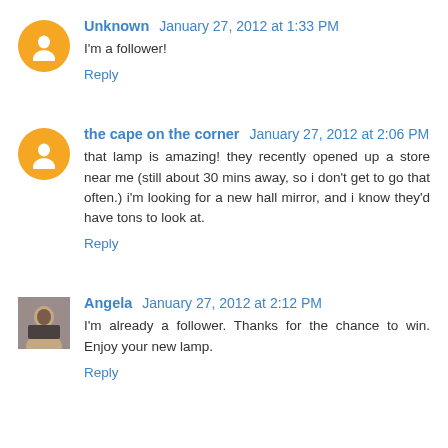Unknown January 27, 2012 at 1:33 PM
I'm a follower!
Reply
the cape on the corner January 27, 2012 at 2:06 PM
that lamp is amazing! they recently opened up a store near me (still about 30 mins away, so i don't get to go that often.) i'm looking for a new hall mirror, and i know they'd have tons to look at.
Reply
Angela January 27, 2012 at 2:12 PM
I'm already a follower. Thanks for the chance to win. Enjoy your new lamp.
Reply